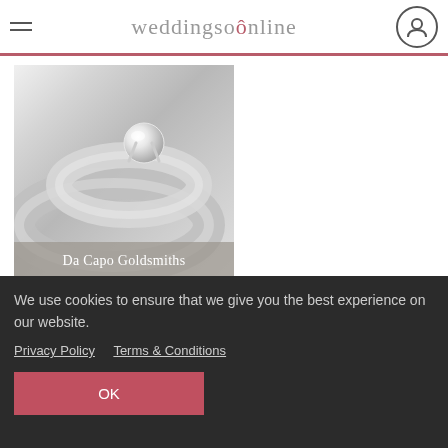weddingsonline
[Figure (photo): Silver diamond solitaire engagement ring and wedding band photograph with 'Da Capo Goldsmiths' label overlay, with 'view details' link below]
Show basic listings
We use cookies to ensure that we give you the best experience on our website.
Privacy Policy   Terms & Conditions
OK